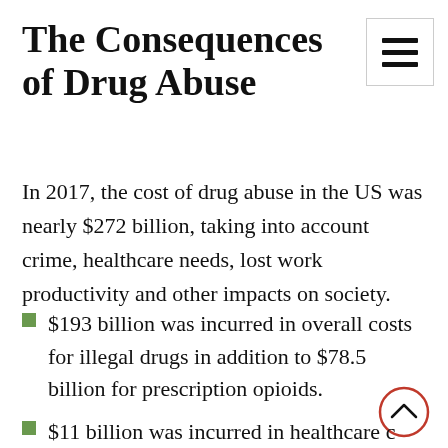The Consequences of Drug Abuse
In 2017, the cost of drug abuse in the US was nearly $272 billion, taking into account crime, healthcare needs, lost work productivity and other impacts on society.
$193 billion was incurred in overall costs for illegal drugs in addition to $78.5 billion for prescription opioids.
$11 billion was incurred in healthcare c